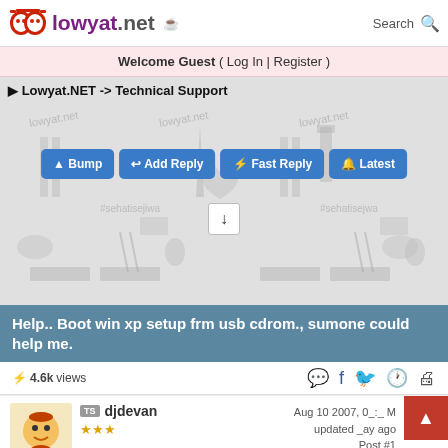lowyat.net
Welcome Guest ( Log In | Register )
Lowyat.NET -> Technical Support
[Figure (screenshot): Malaysian themed decorative background pattern with watermarks, hashtag #sehatisejiwa, national landmarks and symbols]
Bump | Add Reply | Fast Reply | Latest
Help.. Boot win xp setup frm usb cdrom., sumone could help me.
4.6k views
djdevan | Aug 10 2007, 0_:_ M | updated _ay ago | Post #1